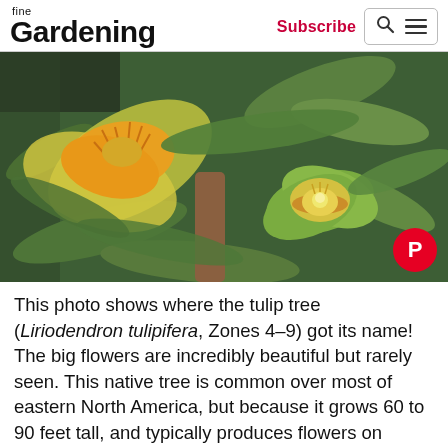fine Gardening | Subscribe
[Figure (photo): Two tulip tree (Liriodendron tulipifera) flowers shown close-up among green leaves. The left flower is open showing yellow and orange petals with stamens visible. The right flower is more cup-shaped, green-yellow exterior with yellow interior and a white center. A Pinterest badge is overlaid in the bottom right corner.]
This photo shows where the tulip tree (Liriodendron tulipifera, Zones 4–9) got its name! The big flowers are incredibly beautiful but rarely seen. This native tree is common over most of eastern North America, but because it grows 60 to 90 feet tall, and typically produces flowers on